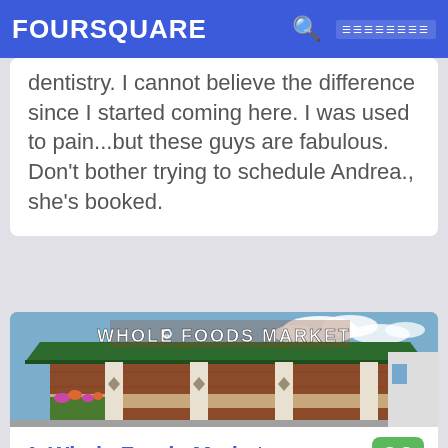FOURSQUARE
dentistry. I cannot believe the difference since I started coming here. I was used to pain...but these guys are fabulous. Don't bother trying to schedule Andrea., she's booked.
[Figure (photo): Exterior photo of a Whole Foods Market store with brick facade, green roof canopy, and blue sky with clouds.]
4. Whole Foods Market   8.2